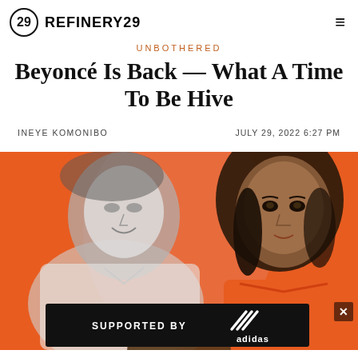REFINERY29
UNBOTHERED
Beyoncé Is Back — What A Time To Be Hive
INEYE KOMONIBO    JULY 29, 2022 6:27 PM
[Figure (photo): Hero image collage on orange background: a black-and-white photo of a person on the left, a woman in an orange dress on the right, and a person with braids partially visible at the bottom center. An adidas 'Supported By' ad banner overlays the bottom of the image.]